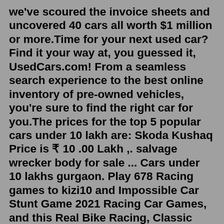we've scoured the invoice sheets and uncovered 40 cars all worth $1 million or more.Time for your next used car? Find it your way at, you guessed it, UsedCars.com! From a seamless search experience to the best online inventory of pre-owned vehicles, you're sure to find the right car for you.The prices for the top 5 popular cars under 10 lakh are: Skoda Kushaq Price is ₹ 10 .00 Lakh ,. salvage wrecker body for sale ... Cars under 10 lakhs gurgaon. Play 678 Racing games to kizi10 and Impossible Car Stunt Game 2021 Racing Car Games, and this Real Bike Racing, Classic Jeep Car Parking, Car Drifting Pro Racing Cars, Offroad Truck Simulator Hill Climb, Car Driving 3d, Mini Car Driving Best 3d Simulator, Higway Drift Car, Race To Sky, Battle Off...The new year might bring some more options for buyers with a budget of under Rs 10 lakh. Here we take a look at some of the electric cars that may Renault Zoe is a popular entry-level electric car in the European market and it may soon make its way to India as well. Zooming timely hold that area. In this list, sort of